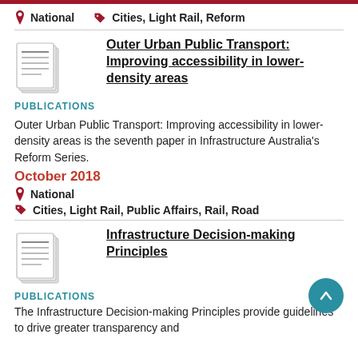National   Cities, Light Rail, Reform
Outer Urban Public Transport: Improving accessibility in lower-density areas
PUBLICATIONS
Outer Urban Public Transport: Improving accessibility in lower-density areas is the seventh paper in Infrastructure Australia's Reform Series.
October 2018
National
Cities, Light Rail, Public Affairs, Rail, Road
Infrastructure Decision-making Principles
PUBLICATIONS
The Infrastructure Decision-making Principles provide guidelines to drive greater transparency and